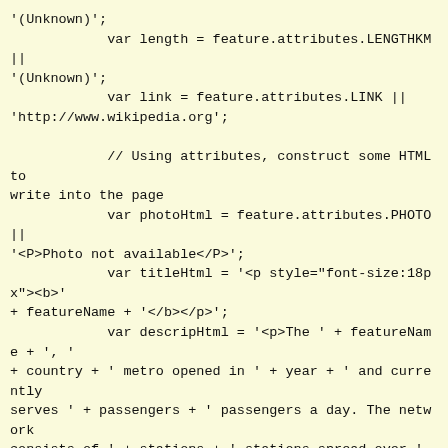'(Unknown)';
            var length = feature.attributes.LENGTHKM ||
'(Unknown)';
            var link = feature.attributes.LINK ||
'http://www.wikipedia.org';

            // Using attributes, construct some HTML to write into the page
            var photoHtml = feature.attributes.PHOTO ||
'<P>Photo not available</P>';
            var titleHtml = '<p style="font-size:18px"><b>'
+ featureName + '</b></p>';
            var descripHtml = '<p>The ' + featureName + ', '
+ country + ' metro opened in ' + year + ' and currently
serves ' + passengers + ' passengers a day. The network
consists of ' + stations + ' stations spread over ' +
length + ' kilometers.</p>';
            var readmoreHtml = '<p><a href="' + link +
'">Read more</a></p>';

document.getElementById('summaryLabel').innerHTML =
titleHtml + descripHtml + readmoreHtml;
            document.getElementById('metroImage').innerHTML